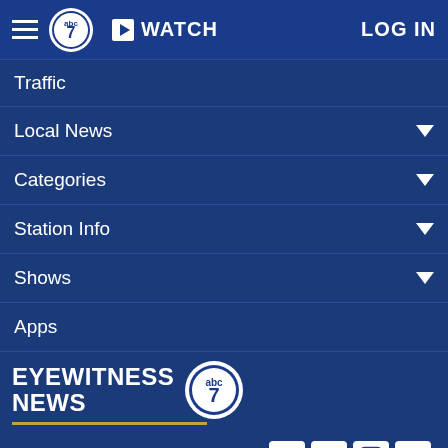WATCH  LOG IN
Traffic
Local News
Categories
Station Info
Shows
Apps
[Figure (logo): Eyewitness News ABC7 logo with circular ABC7 icon and gold underline]
Follow Us: [Facebook] [Twitter] [Instagram] [Email]
Privacy Policy | Do Not Sell My Personal Information | Children's Privacy Policy